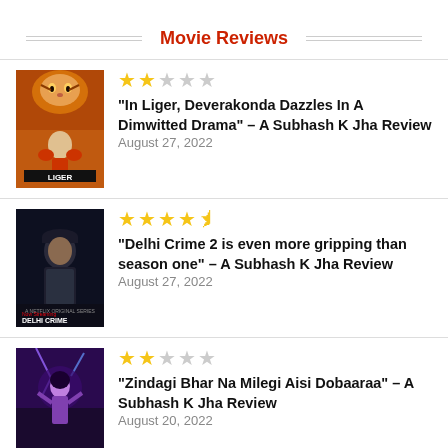Movie Reviews
[Figure (photo): Liger movie poster showing a boxer with a tiger in the background]
“In Liger, Deverakonda Dazzles In A Dimwitted Drama” – A Subhash K Jha Review
August 27, 2022
[Figure (photo): Delhi Crime 2 movie poster showing a person in a dark setting]
“Delhi Crime 2 is even more gripping than season one” – A Subhash K Jha Review
August 27, 2022
[Figure (photo): Zindagi Bhar Na Milegi Aisi Dobaaraa movie poster]
“Zindagi Bhar Na Milegi Aisi Dobaaraa” – A Subhash K Jha Review
August 20, 2022